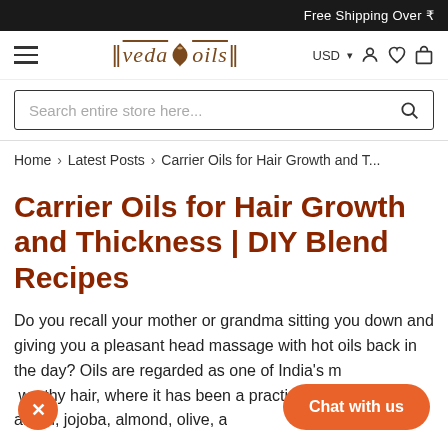Free Shipping Over ₹
[Figure (logo): VedaOils logo with decorative borders and serif italic text]
Search entire store here...
Home > Latest Posts > Carrier Oils for Hair Growth and T...
Carrier Oils for Hair Growth and Thickness | DIY Blend Recipes
Do you recall your mother or grandma sitting you down and giving you a pleasant head massage with hot oils back in the day? Oils are regarded as one of India's most trustworthy hair, where it has been a practice like coconut, argan, jojoba, almond, olive, ar